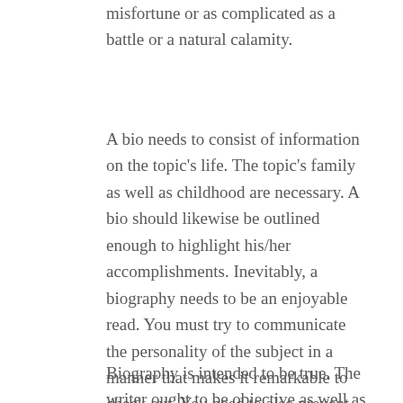misfortune or as complicated as a battle or a natural calamity.
A bio needs to consist of information on the topic's life. The topic's family as well as childhood are necessary. A bio should likewise be outlined enough to highlight his/her accomplishments. Inevitably, a biography needs to be an enjoyable read. You must try to communicate the personality of the subject in a manner that makes it remarkable to check out. You need to also prevent composing a biography that is as well short. It is better to concentrate on someone than to focus on one more.
Biography is intended to be true. The writer ought to be objective as well as not censor the subject. On top